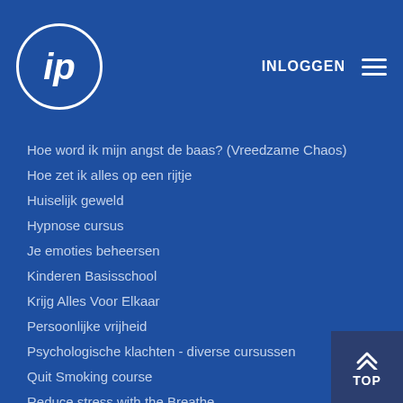ip INLOGGEN ☰
Hoe word ik mijn angst de baas? (Vreedzame Chaos)
Hoe zet ik alles op een rijtje
Huiselijk geweld
Hypnose cursus
Je emoties beheersen
Kinderen Basisschool
Krijg Alles Voor Elkaar
Persoonlijke vrijheid
Psychologische klachten - diverse cursussen
Quit Smoking course
Reduce stress with the Breathe
Reducing Alchohol
Slapen - Gezond Slapen & Slaapstoornissen
Stop Pesten - Op het Werk en op School
Stoppen met Roken cursus
Stress aanpakken